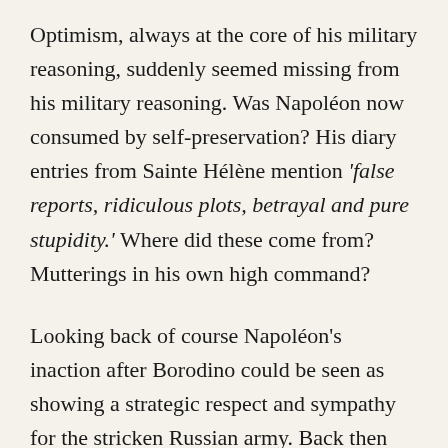Optimism, always at the core of his military reasoning, suddenly seemed missing from his military reasoning. Was Napoléon now consumed by self-preservation? His diary entries from Sainte Hélène mention 'false reports, ridiculous plots, betrayal and pure stupidity.' Where did these come from? Mutterings in his own high command?

Looking back of course Napoléon's inaction after Borodino could be seen as showing a strategic respect and sympathy for the stricken Russian army. Back then though Napoléon wasn't in Russia to demonstrate sympathy for the Russian army, even if his best option already was now to discuss peace proposals. As he had never shown this sort of